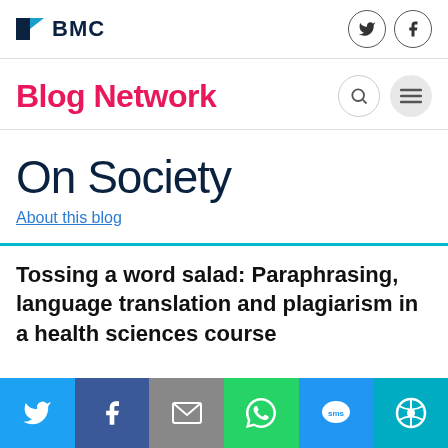BMC
Blog Network
On Society
About this blog
Tossing a word salad: Paraphrasing, language translation and plagiarism in a health sciences course